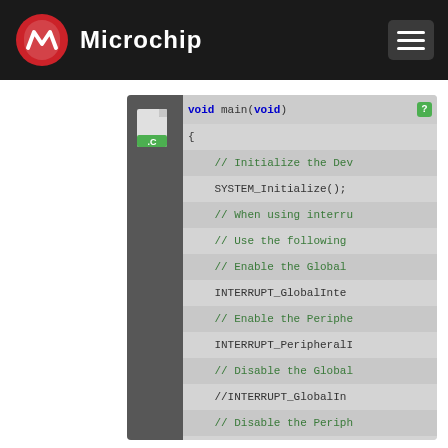Microchip
[Figure (screenshot): Microchip MPLAB code editor screenshot showing a C source file with void main(void) function, SYSTEM_Initialize(), interrupt enable/disable calls, while(1) loop, and application code placeholder.]